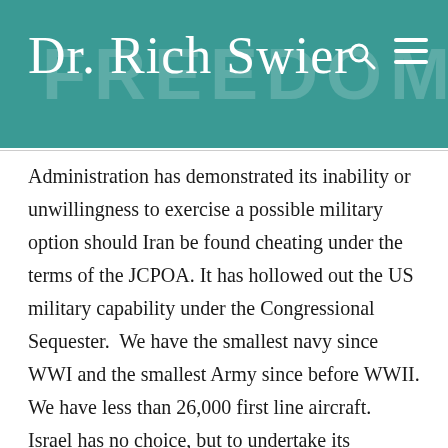Dr. Rich Swier
Administration has demonstrated its inability or unwillingness to exercise a possible military option should Iran be found cheating under the terms of the JCPOA. It has hollowed out the US military capability under the Congressional Sequester.  We have the smallest navy since WWI and the smallest Army since before WWII. We have less than 26,000 first line aircraft. Israel has no choice, but to undertake its sovereign right to defend the Jewish nation against such existential threats.
EDITORS NOTE: This column originally